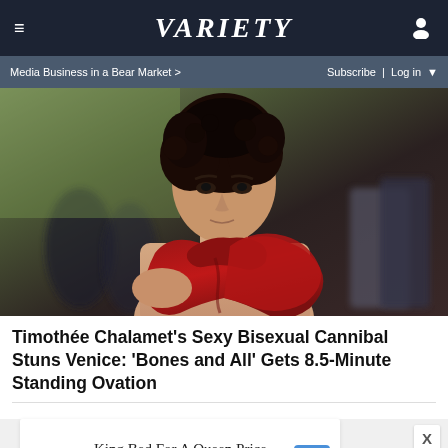≡   VARIETY   👤
Media Business in a Bear Market >   Subscribe | Log in ▼
[Figure (photo): Photo of Timothée Chalamet wearing a red draped garment/scarf at the Venice film festival, with crowd in background]
Timothée Chalamet's Sexy Bisexual Cannibal Stuns Venice: 'Bones and All' Gets 8.5-Minute Standing Ovation
[Figure (infographic): Advertisement for Mattress Firm Potomac Run Plaza: 'King Bed For A Queen Price Now' with Mattress Firm logo and navigation arrow icon]